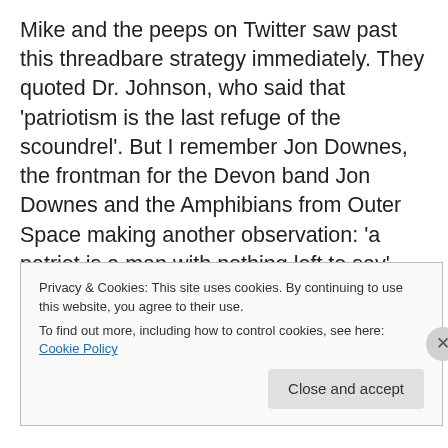Mike and the peeps on Twitter saw past this threadbare strategy immediately. They quoted Dr. Johnson, who said that 'patriotism is the last refuge of the scoundrel'. But I remember Jon Downes, the frontman for the Devon band Jon Downes and the Amphibians from Outer Space making another observation: 'a patriot is a man with nothing left to say'. This was in a song entitled 'Land of Dopes and Tories'. It was a commented on Major's Conservative party, which carried on the flag-waving while handing over vast tracts of Britain's historic landscape to
Privacy & Cookies: This site uses cookies. By continuing to use this website, you agree to their use.
To find out more, including how to control cookies, see here: Cookie Policy